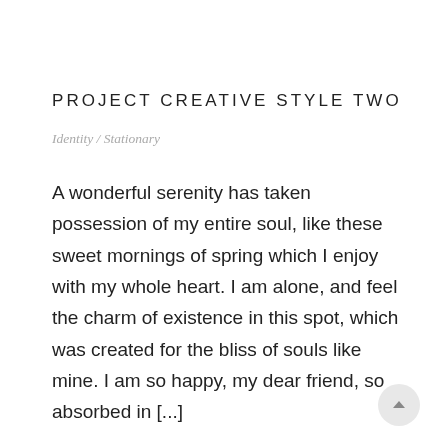PROJECT CREATIVE STYLE TWO
Identity / Stationary
A wonderful serenity has taken possession of my entire soul, like these sweet mornings of spring which I enjoy with my whole heart. I am alone, and feel the charm of existence in this spot, which was created for the bliss of souls like mine. I am so happy, my dear friend, so absorbed in [...]